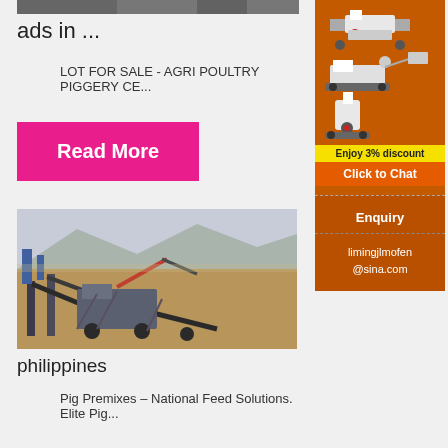[Figure (photo): Partial top image, appears to be a landscape or industrial photo, cropped]
ads in ...
LOT FOR SALE - AGRI POULTRY PIGGERY CE...
Read More
[Figure (photo): Mining equipment and industrial machinery at an open mining site with mountains in background, Philippines]
philippines
Pig Premixes – National Feed Solutions. Elite Pig...
[Figure (infographic): Orange advertisement banner showing crushing/mining machines with 'Enjoy 3% discount' and 'Click to Chat' buttons]
Enquiry
limingjlmofen @sina.com